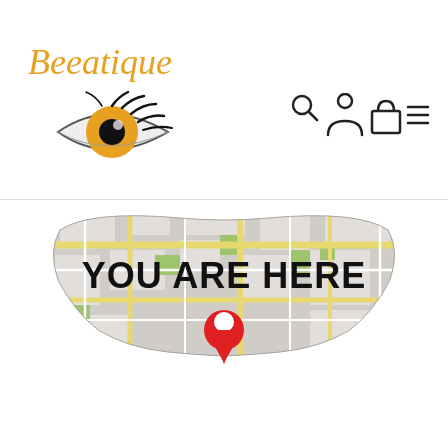[Figure (logo): Beeatique brand logo with stylized eye illustration featuring orange iris and long lashes, with cursive orange text 'Beeatique' above]
[Figure (illustration): Navigation/UI icons: search magnifying glass, user/account person icon, shopping bag icon, hamburger menu icon]
[Figure (photo): Product photo of underwear/panties with a map print design showing streets and a red location pin marker, with bold text 'YOU ARE HERE' printed on the garment]